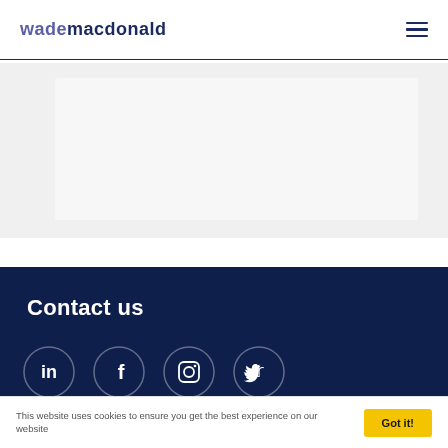wade macdonald
[Figure (other): Light grey placeholder content area with a slightly lighter inner rectangle]
Contact us
[Figure (other): Social media icons in circles: LinkedIn, Facebook, Instagram, Twitter on dark navy background]
This website uses cookies to ensure you get the best experience on our website